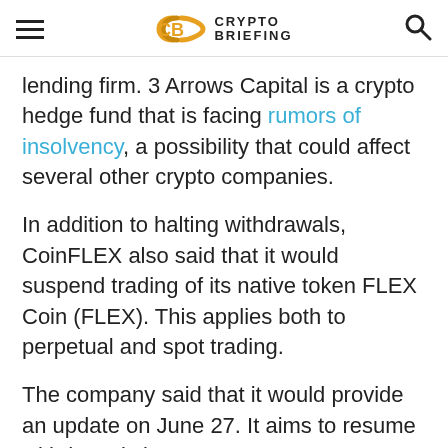Crypto Briefing
lending firm. 3 Arrows Capital is a crypto hedge fund that is facing rumors of insolvency, a possibility that could affect several other crypto companies.
In addition to halting withdrawals, CoinFLEX also said that it would suspend trading of its native token FLEX Coin (FLEX). This applies both to perpetual and spot trading.
The company said that it would provide an update on June 27. It aims to resume withdrawals by June 30.
Celsius Started the Trend